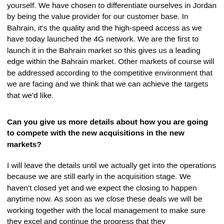yourself. We have chosen to differentiate ourselves in Jordan by being the value provider for our customer base. In Bahrain, it's the quality and the high-speed access as we have today launched the 4G network. We are the first to launch it in the Bahrain market so this gives us a leading edge within the Bahrain market. Other markets of course will be addressed according to the competitive environment that we are facing and we think that we can achieve the targets that we'd like.
Can you give us more details about how you are going to compete with the new acquisitions in the new markets?
I will leave the details until we actually get into the operations because we are still early in the acquisition stage. We haven't closed yet and we expect the closing to happen anytime now. As soon as we close these deals we will be working together with the local management to make sure they excel and continue the progress that they